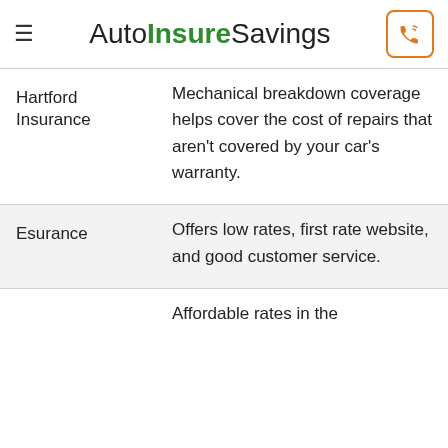AutoInsureSavings
| Provider | Description |
| --- | --- |
| Hartford Insurance | Mechanical breakdown coverage helps cover the cost of repairs that aren't covered by your car's warranty. |
| Esurance | Offers low rates, first rate website, and good customer service. |
|  | Affordable rates in the |